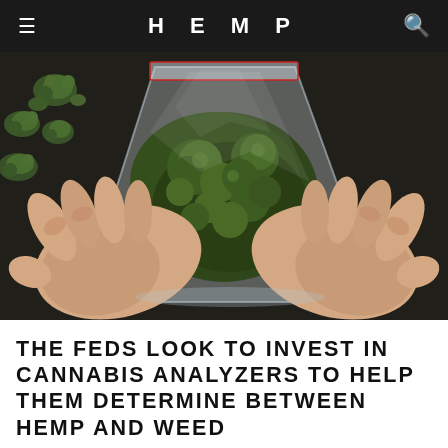HEMP
[Figure (photo): Two hands holding an open clear plastic ziplock bag filled with cannabis/marijuana buds. Several loose buds are scattered on a dark background surface.]
THE FEDS LOOK TO INVEST IN CANNABIS ANALYZERS TO HELP THEM DETERMINE BETWEEN HEMP AND WEED